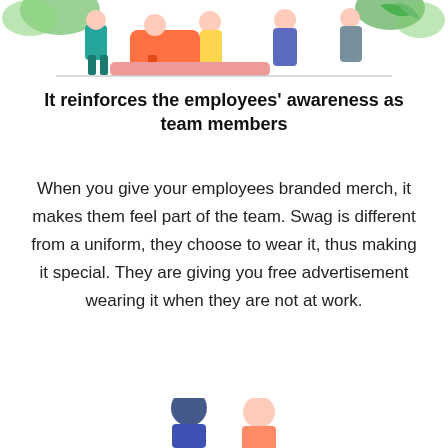[Figure (illustration): Top illustration showing diverse people sitting together with plants/foliage in the background, colorful figures in orange, teal, and other colors]
It reinforces the employees' awareness as team members
When you give your employees branded merch, it makes them feel part of the team. Swag is different from a uniform, they choose to wear it, thus making it special. They are giving you free advertisement wearing it when they are not at work.
[Figure (illustration): Bottom partial illustration showing figures, partially cropped at the bottom of the page]